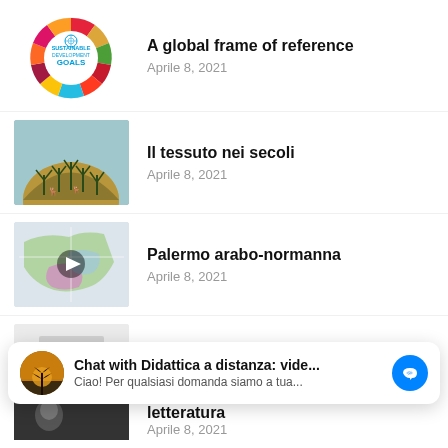[Figure (logo): UN Sustainable Development Goals circular logo with colorful icons]
A global frame of reference
Aprile 8, 2021
[Figure (photo): Photo of a decorative textile/embroidery piece with peacock motif on blue background]
Il tessuto nei secoli
Aprile 8, 2021
[Figure (map): Map of Palermo arabo-normanna with colored regions, includes a play button overlay]
Palermo arabo-normanna
Aprile 8, 2021
[Figure (screenshot): Document/text placeholder thumbnail with lines on grey background]
integrazione scolastica
Aprile 8, 2021
Chat with Didattica a distanza: vide... Ciao! Per qualsiasi domanda siamo a tua...
[Figure (photo): Partial black and white photo, partially visible at bottom]
letteratura
Aprile 8, 2021